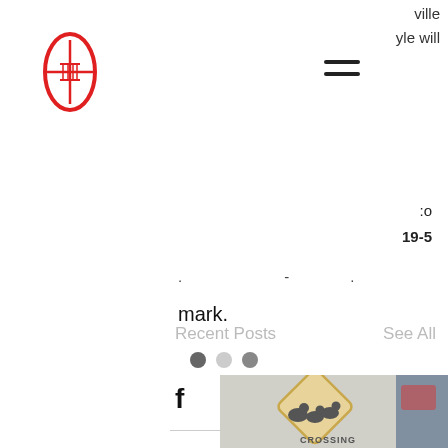[Figure (logo): Red football/rugby ball icon with stitching lines, outlined in red]
[Figure (other): Hamburger menu icon (three horizontal lines)]
ville
yle will
:o
19-5
. - .
mark.
[Figure (other): Social share icons: Facebook (f), Twitter bird, LinkedIn (in), chain link/URL]
Recent Posts
See All
[Figure (other): Pagination dots: two dark circles and one lighter circle]
[Figure (photo): Duck crossing road sign (yellow diamond shape with duck silhouettes) with text CROSSING at bottom, foggy background]